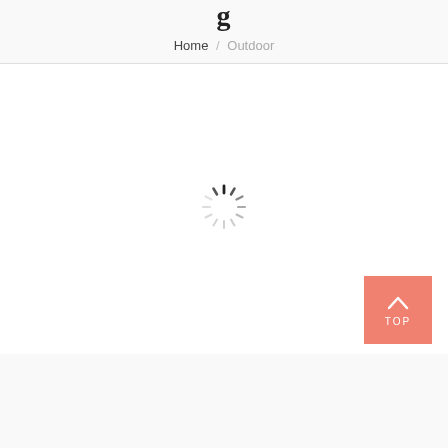Home / Outdoor
[Figure (other): Loading spinner animation — circular spinner with radiating dashes in gray and dark tones, centered in a white content area]
[Figure (other): Salmon/coral colored 'TOP' back-to-top button with upward chevron arrow, positioned bottom-right corner]